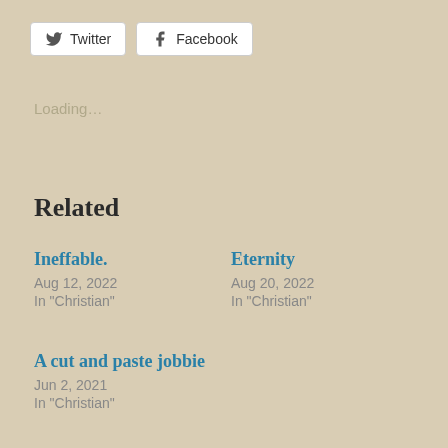[Figure (other): Twitter and Facebook social sharing buttons]
Loading...
Related
Ineffable.
Aug 12, 2022
In "Christian"
Eternity
Aug 20, 2022
In "Christian"
A cut and paste jobbie
Jun 2, 2021
In "Christian"